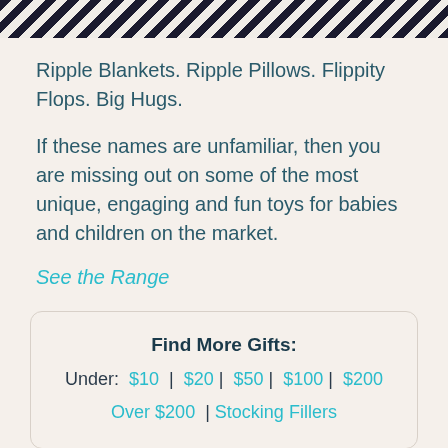[Figure (photo): Top portion of a black and white zebra-stripe patterned textile or toy, cropped at the top of the page]
Ripple Blankets. Ripple Pillows. Flippity Flops. Big Hugs.
If these names are unfamiliar, then you are missing out on some of the most unique, engaging and fun toys for babies and children on the market.
See the Range
Find More Gifts:
Under: $10 | $20 | $50 | $100 | $200
Over $200 | Stocking Fillers